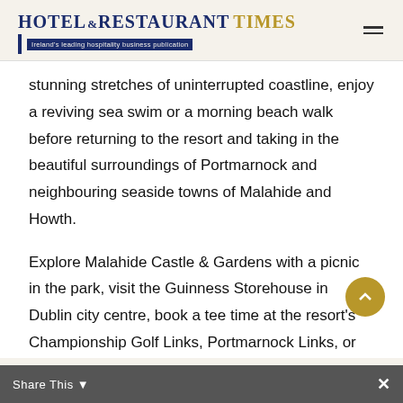HOTEL & RESTAURANT TIMES — Ireland's leading hospitality business publication
stunning stretches of uninterrupted coastline, enjoy a reviving sea swim or a morning beach walk before returning to the resort and taking in the beautiful surroundings of Portmarnock and neighbouring seaside towns of Malahide and Howth.
Explore Malahide Castle & Gardens with a picnic in the park, visit the Guinness Storehouse in Dublin city centre, book a tee time at the resort's Championship Golf Links, Portmarnock Links, or take a ferry excursion around Ireland's Eye, the list is endless!
Share This ×